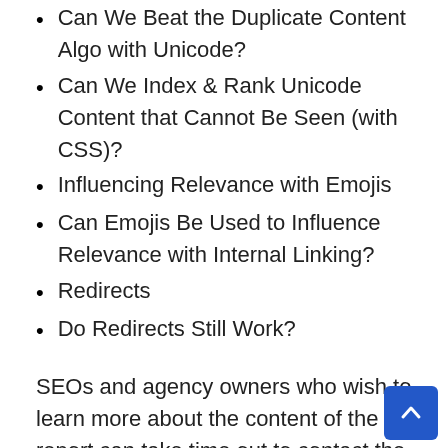Can We Beat the Duplicate Content Algo with Unicode?
Can We Index & Rank Unicode Content that Cannot Be Seen (with CSS)?
Influencing Relevance with Emojis
Can Emojis Be Used to Influence Relevance with Internal Linking?
Redirects
Do Redirects Still Work?
SEOs and agency owners who wish to learn more about the content of the report can take time out to contact the team at Web20Ranker.com via their website. Others who have read the list and wish to leverage any of the agency's white label SEO services are welcome to schedule a meeting via their phone line at (800) 455-6833. The Web20Ranker.com